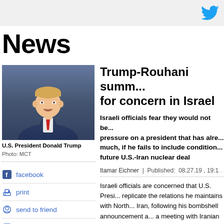Twitter icon
News
[Figure (photo): Photo of U.S. President Donald Trump speaking, wearing a suit with a red tie]
U.S. President Donald Trump
Photo: MCT
facebook
print
send to friend
comment
Trump-Rouhani summ... for concern in Israel
Israeli officials fear they would not be... pressure on a president that has alre... much, if he fails to include condition... future U.S.-Iran nuclear deal
Itamar Eichner | Published: 08.27.19 , 19:1
Israeli officials are concerned that U.S. Presi... replicate the relations he maintains with North... Iran, following his bombshell announcement a... a meeting with Iranian President Hassan Rou... weeks.
•Follow Ynetnews on Facebook and Twitter